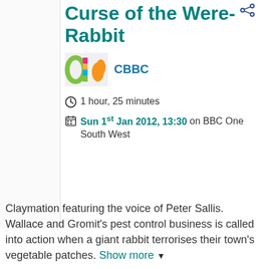Curse of the Were-Rabbit
[Figure (logo): CBBC channel logo — colourful rounded logo]
CBBC
1 hour, 25 minutes
Sun 1st Jan 2012, 13:30 on BBC One South West
Claymation featuring the voice of Peter Sallis. Wallace and Gromit's pest control business is called into action when a giant rabbit terrorises their town's vegetable patches. Show more ▼